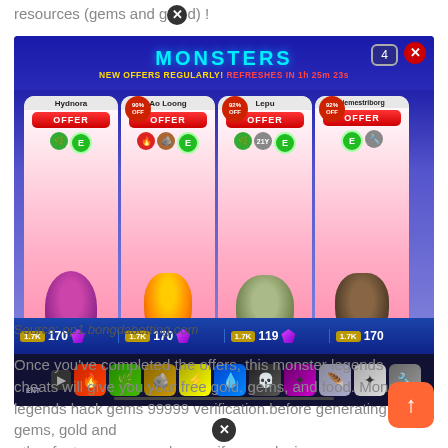resources (gems and gold) !
[Figure (screenshot): Screenshot of Monster Legends mobile game showing the Monsters shop with four monster cards: Hydnora, Ao Loong, Lepu, and Nemestriborg, each showing OFFER buttons, discount badges (90%, 92%, 92%), timer showing 1h 25m 23s, currency amounts (1.7K gold, 170 gems, 119 gems), and element icons at bottom.]
Source: op1.bongdabetting.com
Once you’ve completed the offers, this monster legends cheats will give you your free gold, gems, and food. Monster legends hack gems 99999 verification.before generating gems, gold and other features you need so verify your device